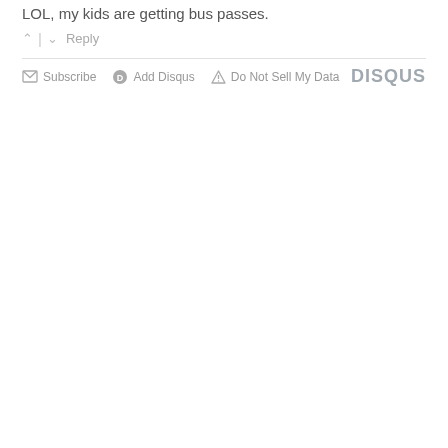LOL, my kids are getting bus passes.
↑ | ↓  Reply
✉ Subscribe  ⓓ Add Disqus  ⚠ Do Not Sell My Data  DISQUS